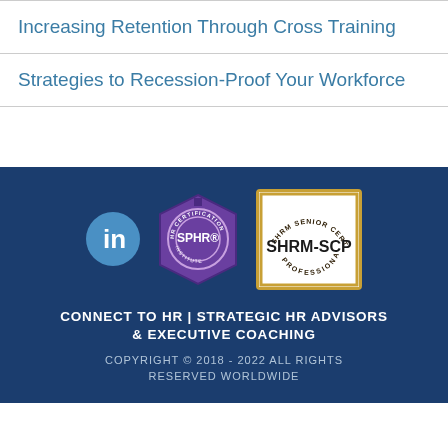Increasing Retention Through Cross Training
Strategies to Recession-Proof Your Workforce
[Figure (logo): LinkedIn logo badge (blue circle with white 'in'), SPHR certification badge (purple hexagon seal from HR Certification Institute), SHRM-SCP Senior Certified Professional badge (gold border, white center)]
CONNECT TO HR | STRATEGIC HR ADVISORS & EXECUTIVE COACHING
COPYRIGHT © 2018 - 2022 ALL RIGHTS RESERVED WORLDWIDE